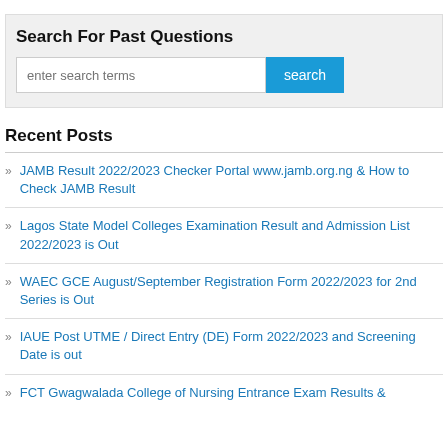Search For Past Questions
Recent Posts
JAMB Result 2022/2023 Checker Portal www.jamb.org.ng & How to Check JAMB Result
Lagos State Model Colleges Examination Result and Admission List 2022/2023 is Out
WAEC GCE August/September Registration Form 2022/2023 for 2nd Series is Out
IAUE Post UTME / Direct Entry (DE) Form 2022/2023 and Screening Date is out
FCT Gwagwalada College of Nursing Entrance Exam Results &